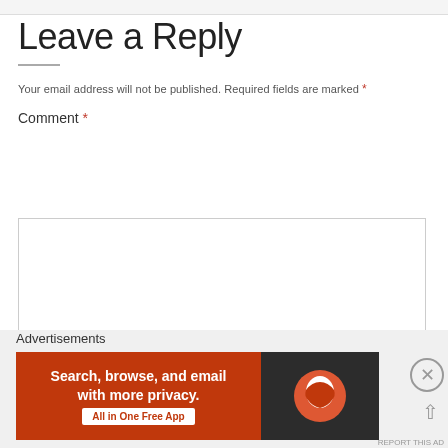Leave a Reply
Your email address will not be published. Required fields are marked *
Comment *
[Figure (screenshot): Empty comment text area input box with light gray border]
Advertisements
[Figure (screenshot): DuckDuckGo advertisement banner: orange left side with text 'Search, browse, and email with more privacy. All in One Free App', dark right side with DuckDuckGo duck logo]